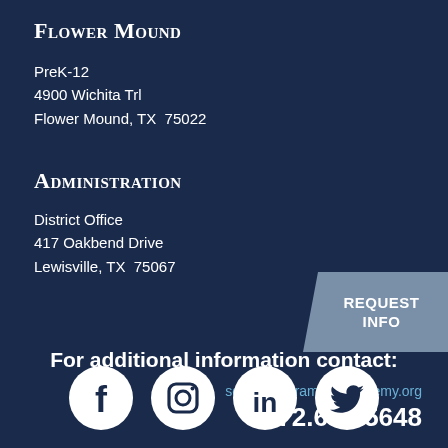Flower Mound
PreK-12
4900 Wichita Trl
Flower Mound, TX  75022
Administration
District Office
417 Oakbend Drive
Lewisville, TX  75067
[Figure (infographic): Grey arrow/chevron button with text REQUEST INFO]
For additional information contact:
school@coramdeoacademy.org
972.691.5648
[Figure (infographic): Social media icons: Facebook, Instagram, LinkedIn, Twitter]